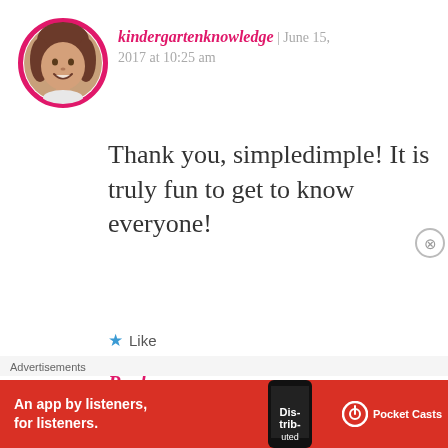[Figure (photo): Circular avatar photo of a woman with brown hair, smiling, with a pink/magenta circular border]
kindergartenknowledge | June 15, 2017 at 10:25 am
Thank you, simpledimple! It is truly fun to get to know everyone!
★ Like
Reply
Advertisements
[Figure (infographic): Red advertisement banner for Pocket Casts app: 'An app by listeners, for listeners.' with phone image and Pocket Casts logo]